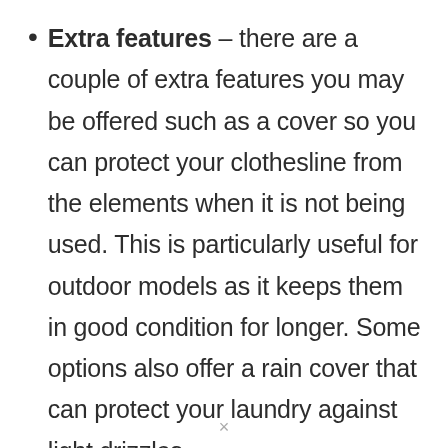Extra features – there are a couple of extra features you may be offered such as a cover so you can protect your clothesline from the elements when it is not being used. This is particularly useful for outdoor models as it keeps them in good condition for longer. Some options also offer a rain cover that can protect your laundry against light drizzles.
×